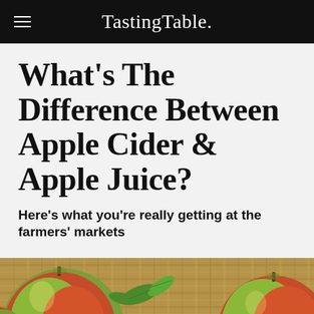TastingTable.
What's The Difference Between Apple Cider & Apple Juice?
Here's what you're really getting at the farmers' markets
[Figure (photo): Photo of red and green apples on burlap fabric with green leaves]